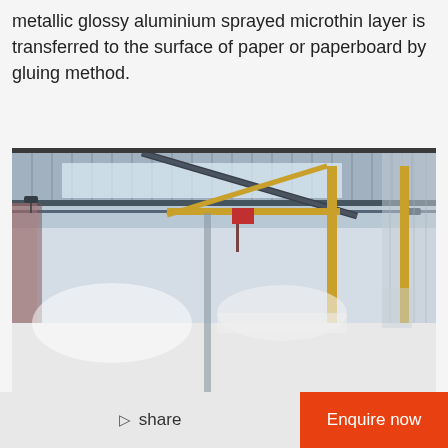metallic glossy aluminium sprayed microthin layer is transferred to the surface of paper or paperboard by gluing method.
[Figure (photo): Interior of an industrial warehouse or factory building showing metal roof structure with corrugated panels, steel beams, a yellow overhead crane arm with hoist, and large white machinery visible in the lower portion. The space has a large open floor area.]
share   Enquire now